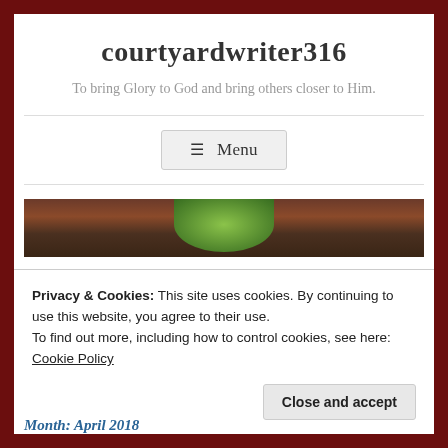courtyardwriter316
To bring Glory to God and bring others closer to Him.
☰ Menu
[Figure (photo): Partial photo of a green bowl on a dark wooden surface, partially visible at the bottom of the page]
Privacy & Cookies: This site uses cookies. By continuing to use this website, you agree to their use.
To find out more, including how to control cookies, see here: Cookie Policy
Close and accept
Month: April 2018